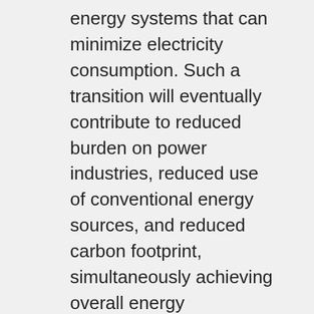energy systems that can minimize electricity consumption. Such a transition will eventually contribute to reduced burden on power industries, reduced use of conventional energy sources, and reduced carbon footprint, simultaneously achieving overall energy sufficiency. While this goal is straightforward, there is no unique solution to achieve it and a diverse portfolio of technology initiatives will be needed. For the very reason, Dr. Pahinkar's research focuses on the computational and experimental development, and performance enhancement of innovative, energy efficient and environment-friendly thermal energy conversion and storage systems.
Dr. Xingjian Wang's areas of focus include modeling and simulation of complex fluid flows and combustion in practical propulsion and power-